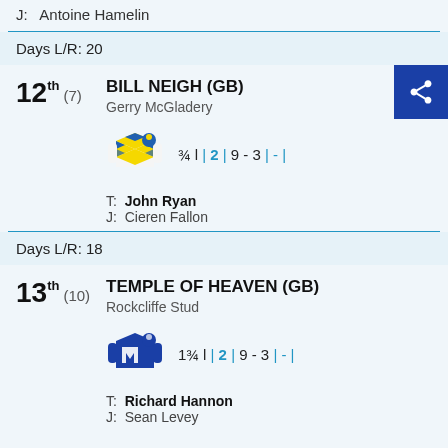J:  Antoine Hamelin
Days L/R: 20
12th (7)  BILL NEIGH (GB)
Gerry McGladery
¾ l | 2 | 9 - 3 | - |
T: John Ryan
J: Cieren Fallon
Days L/R: 18
13th (10)  TEMPLE OF HEAVEN (GB)
Rockcliffe Stud
1¾ l | 2 | 9 - 3 | - |
T: Richard Hannon
J: Sean Levey